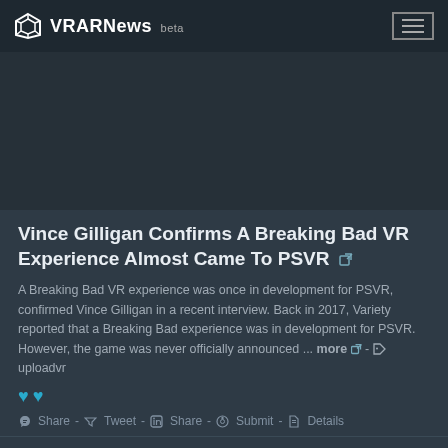VRARNews beta
[Figure (photo): Dark background image area, placeholder for article image]
Vince Gilligan Confirms A Breaking Bad VR Experience Almost Came To PSVR
A Breaking Bad VR experience was once in development for PSVR, confirmed Vince Gilligan in a recent interview. Back in 2017, Variety reported that a Breaking Bad experience was in development for PSVR. However, the game was never officially announced ... more - uploadvr
Share - Tweet - Share - Submit - Details
Thursday, 11 August, 2022